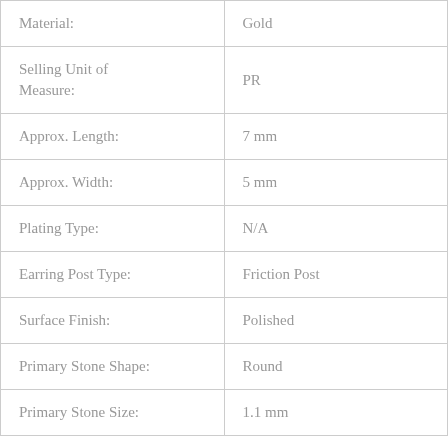| Material: | Gold |
| Selling Unit of Measure: | PR |
| Approx. Length: | 7 mm |
| Approx. Width: | 5 mm |
| Plating Type: | N/A |
| Earring Post Type: | Friction Post |
| Surface Finish: | Polished |
| Primary Stone Shape: | Round |
| Primary Stone Size: | 1.1 mm |